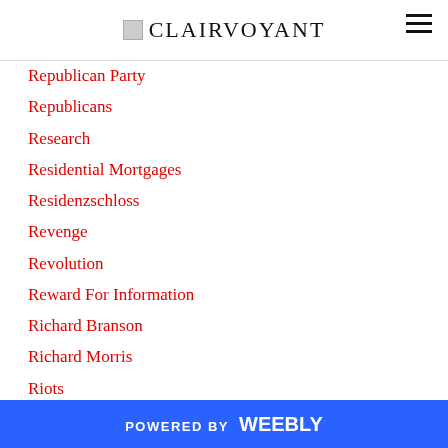CLAIRVOYANT
Republican Party
Republicans
Research
Residential Mortgages
Residenzschloss
Revenge
Revolution
Reward For Information
Richard Branson
Richard Morris
Riots
Riots In USA
Rivne Nuclear Power Plant
Robbery
Robert Redfield
POWERED BY weebly